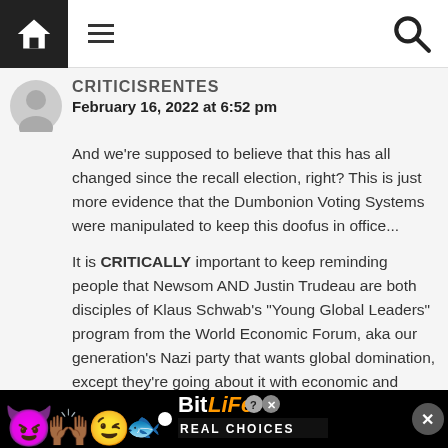Home | Menu | Search
criticisrentes
February 16, 2022 at 6:52 pm
And we're supposed to believe that this has all changed since the recall election, right? This is just more evidence that the Dumbonion Voting Systems were manipulated to keep this doofus in office...
It is CRITICALLY important to keep reminding people that Newsom AND Justin Trudeau are both disciples of Klaus Schwab's "Young Global Leaders" program from the World Economic Forum, aka our generation's Nazi party that wants global domination, except they're going about it with economic and medical tyranny levers (so far) and they want us to RESIST with
[Figure (infographic): BitLife game advertisement banner with devil emoji, woman emoji, winking emoji, sperm emoji, BitLife logo and REAL CHOICES tagline on black background]